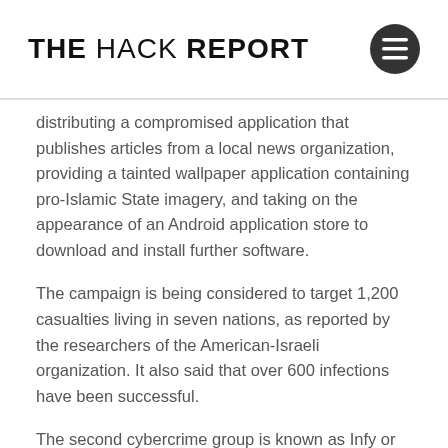THE HACK REPORT
distributing a compromised application that publishes articles from a local news organization, providing a tainted wallpaper application containing pro-Islamic State imagery, and taking on the appearance of an Android application store to download and install further software.
The campaign is being considered to target 1,200 casualties living in seven nations, as reported by the researchers of the American-Israeli organization. It also said that over 600 infections have been successful.
The second cybercrime group is known as Infy or Prince Of Persia and is said to keep an eye on the home and work PCs of protesters/dissidents in 12 nations and extract confidential information after fooling individuals into opening pernicious attachments of emails. The Iranian government has not remarked on the report.
Operations and activities of the Domestic Kitten were first recognized in 2018. Furthermore, CheckPoint explained that